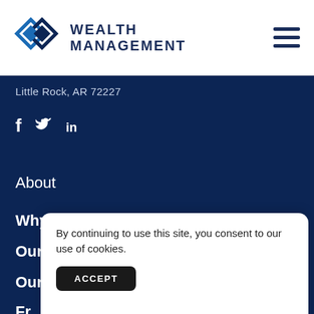[Figure (logo): Wealth Management company logo with diamond chain link icon in blue and navy, with text WEALTH MANAGEMENT in all caps]
Little Rock, AR 72227
[Figure (infographic): Social media icons: Facebook (f), Twitter (bird), LinkedIn (in) in white on navy background]
About
Why Us?
Our Team
Our Partners
Fr
By continuing to use this site, you consent to our use of cookies.